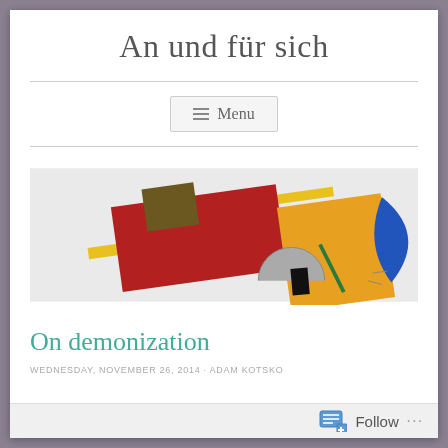An und für sich
Menu
[Figure (illustration): Abstract Suprematist painting with geometric shapes: red rectangle, yellow/orange rectangle, brown square, yellow diagonal bars, blue curved shape, gray semicircle, black small square, green diagonal line, on light gray background.]
On demonization
WEDNESDAY, NOVEMBER 26, 2014 · ADAM KOTSKO
Follow ···